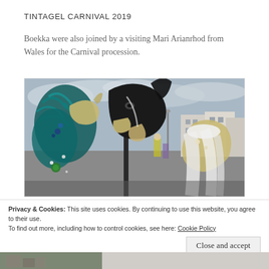TINTAGEL CARNIVAL 2019
Boekka were also joined by a visiting Mari Arianrhod from Wales for the Carnival procession.
[Figure (photo): Outdoor carnival photo showing three large decorative horse/animal head figures/puppets on a street. The left figure has teal/blue feathers and ribbons, the middle is a large black horse head on a tall pole, and the right figure wears a white veil. Buildings and overcast sky are visible in the background.]
Privacy & Cookies: This site uses cookies. By continuing to use this website, you agree to their use.
To find out more, including how to control cookies, see here: Cookie Policy
Close and accept